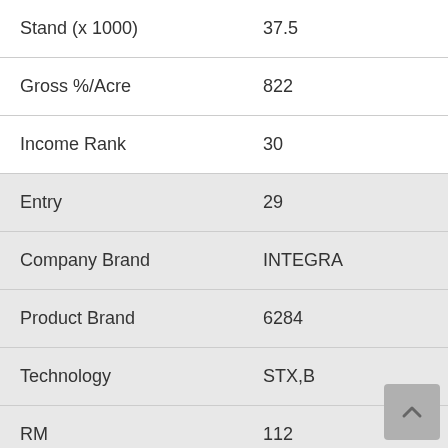| Field | Value |
| --- | --- |
| Stand (x 1000) | 37.5 |
| Gross %/Acre | 822 |
| Income Rank | 30 |
| Entry | 29 |
| Company Brand | INTEGRA |
| Product Brand | 6284 |
| Technology | STX,B |
| RM | 112 |